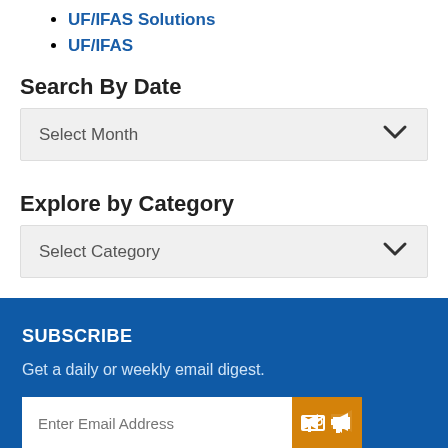UF/IFAS Solutions
UF/IFAS
Search By Date
Select Month
Explore by Category
Select Category
SUBSCRIBE
Get a daily or weekly email digest.
Enter Email Address